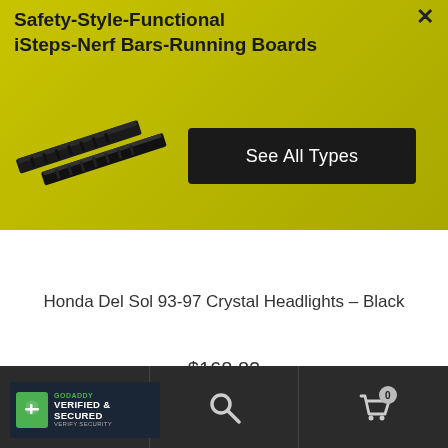Safety-Style-Functional iSteps-Nerf Bars-Running Boards
[Figure (illustration): Running board / nerf bar product image in dark grey/black, angled view]
See All Types
Honda Del Sol 93-97 Crystal Headlights – Black
$168.82
Read more
[Figure (logo): GoDaddy Verified & Secured badge with green shield icon]
GoDaddy VERIFIED & SECURED VERIFY SECURITY